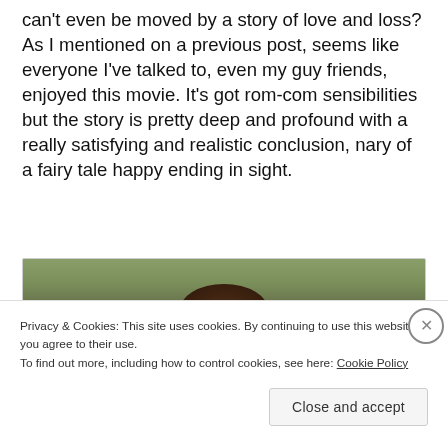can't even be moved by a story of love and loss? As I mentioned on a previous post, seems like everyone I've talked to, even my guy friends, enjoyed this movie. It's got rom-com sensibilities but the story is pretty deep and profound with a really satisfying and realistic conclusion, nary of a fairy tale happy ending in sight.
[Figure (photo): Partial photo showing the back of a person's head with dark curly hair against a blurred green outdoor background]
Privacy & Cookies: This site uses cookies. By continuing to use this website, you agree to their use.
To find out more, including how to control cookies, see here: Cookie Policy
Close and accept